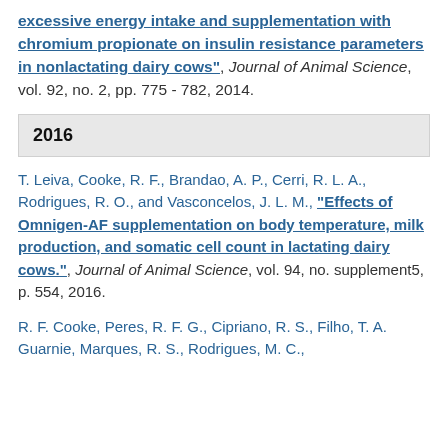excessive energy intake and supplementation with chromium propionate on insulin resistance parameters in nonlactating dairy cows", Journal of Animal Science, vol. 92, no. 2, pp. 775 - 782, 2014.
2016
T. Leiva, Cooke, R. F., Brandao, A. P., Cerri, R. L. A., Rodrigues, R. O., and Vasconcelos, J. L. M., “Effects of Omnigen-AF supplementation on body temperature, milk production, and somatic cell count in lactating dairy cows.", Journal of Animal Science, vol. 94, no. supplement5, p. 554, 2016.
R. F. Cooke, Peres, R. F. G., Cipriano, R. S., Filho, T. A. Guarnie, Marques, R. S., Rodrigues, M. C.,